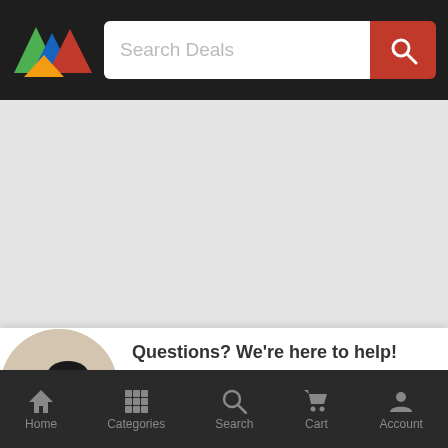[Figure (screenshot): App top navigation bar with colorful triangle logo and search bar labeled 'Search Deals' with red search button]
[Figure (photo): White content area (empty/blank)]
Questions? We're here to help!
Our awesome customer service department is ready for your questions! Although we are a small
Home   Categories   Search   Cart   Account